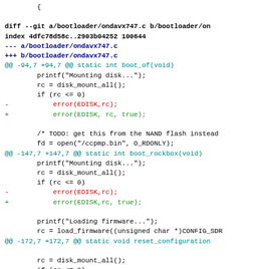{
diff --git a/bootloader/ondavx747.c b/bootloader/on
index 4dfc78d58c..2903b04252 100644
--- a/bootloader/ondavx747.c
+++ b/bootloader/ondavx747.c
@@ -94,7 +94,7 @@ static int boot_of(void)
        printf("Mounting disk...");
        rc = disk_mount_all();
        if (rc <= 0)
-           error(EDISK,rc);
+           error(EDISK, rc, true);

        /* TODO: get this from the NAND flash instead
        fd = open("/ccpmp.bin", O_RDONLY);
@@ -147,7 +147,7 @@ static int boot_rockbox(void)
        printf("Mounting disk...");
        rc = disk_mount_all();
        if (rc <= 0)
-           error(EDISK,rc);
+           error(EDISK,rc, true);

        printf("Loading firmware...");
        rc = load_firmware((unsigned char *)CONFIG_SDR
@@ -172,7 +172,7 @@ static void reset_configuration

        rc = disk_mount_all();
        if (rc <= 0)
-           error(EDISK,rc);
+           error(EDISK,rc, true);